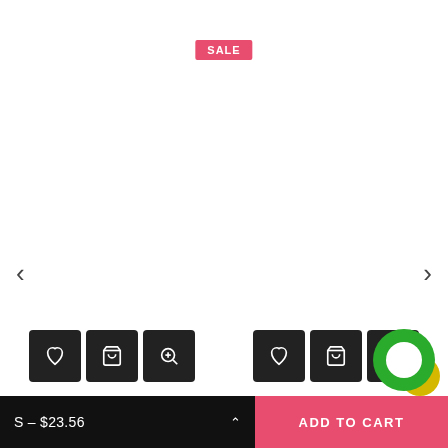[Figure (screenshot): SALE badge in pink/red]
‹
›
[Figure (screenshot): Product action buttons: heart, cart, zoom for Mickey Mouse Pose T-Shirt]
Mickey Mouse Pose T-Shirt
$35.36
[Figure (screenshot): 5 empty star rating for Mickey Mouse Pose T-Shirt]
[Figure (screenshot): Product action buttons: heart, cart, zoom for Mickey Mouse Vintage T-Shirt]
Mickey Mouse Vintage T-Shirt
$30.94 $23.56
[Figure (screenshot): 5 empty star rating for Mickey Mouse Vintage T-Shirt]
S – $23.56
ADD TO CART